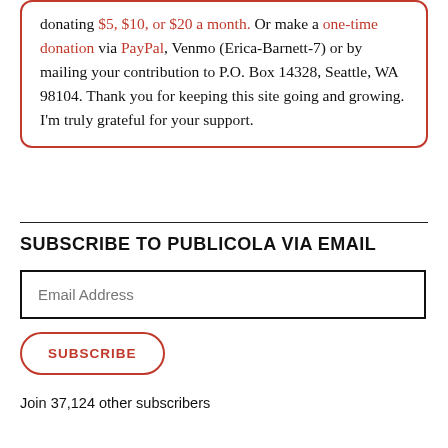donating $5, $10, or $20 a month. Or make a one-time donation via PayPal, Venmo (Erica-Barnett-7) or by mailing your contribution to P.O. Box 14328, Seattle, WA 98104. Thank you for keeping this site going and growing. I'm truly grateful for your support.
SUBSCRIBE TO PUBLICOLA VIA EMAIL
Email Address
SUBSCRIBE
Join 37,124 other subscribers